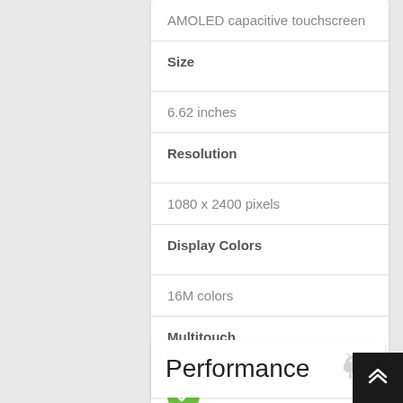AMOLED capacitive touchscreen
Size
6.62 inches
Resolution
1080 x 2400 pixels
Display Colors
16M colors
Multitouch
[Figure (other): Green checkmark circle icon indicating yes/true]
Performance